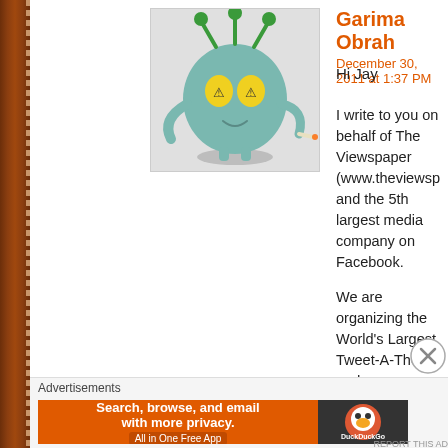[Figure (illustration): Cartoon avatar of a round blue-green character with green antennae, yellow eyes with hazard symbols, and small legs, appearing to smoke.]
Garima Obrah
December 30, 2011 at 1:37 PM
Hi Jay
I write to you on behalf of The Viewspaper (www.theviewsp... and the 5th largest media company on Facebook.
We are organizing the World's Largest Tweet-A-Thon! and... same.
From American political journalists in the 1950s, to The Ec... has run rife about India and whether we will survive as a n...
Poverty. Corruption. Terrorism. Disease. Currency woes. W... off, doomsdayed, delegitimized – but we keep coming bac... this solid resilience?
It is our nation's optimism. No matter how much you bring...
A first of its kind initiative, the #IFeelUp Tweetathon is a 3-... irrepressible state of the nation, in spite of its laundry list o... panelists for non-stop discussion, and that's where you co...
Advertisements
[Figure (screenshot): DuckDuckGo advertisement banner: 'Search, browse, and email with more privacy. All in One Free App' on orange background with DuckDuckGo logo on dark background.]